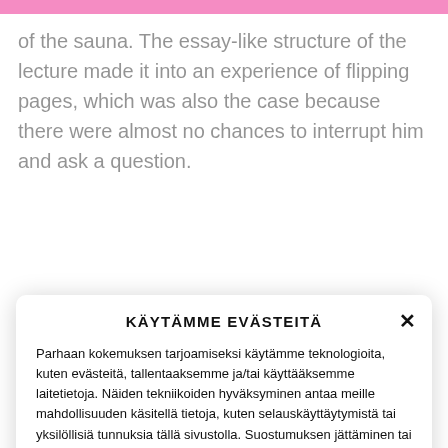of the sauna. The essay-like structure of the lecture made it into an experience of flipping pages, which was also the case because there were almost no chances to interrupt him and ask a question.
He started out by telling some anecdotes from his personal life...
KÄYTÄMME EVÄSTEITÄ
Parhaan kokemuksen tarjoamiseksi käytämme teknologioita, kuten evästeitä, tallentaaksemme ja/tai käyttääksemme laitetietoja. Näiden tekniikoiden hyväksyminen antaa meille mahdollisuuden käsitellä tietoja, kuten selauskäyttäytymistä tai yksilöllisiä tunnuksia tällä sivustolla. Suostumuksen jättäminen tai peruuttaminen voi vaikuttaa haitallisesti tiettyihin ominaisuuksiin ja toimintoihin.
Hyväksy
Vain välttämättömät